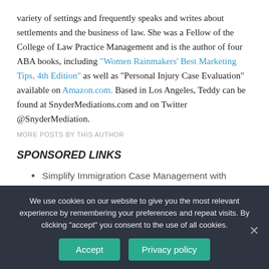variety of settings and frequently speaks and writes about settlements and the business of law. She was a Fellow of the College of Law Practice Management and is the author of four ABA books, including "Women Rainmakers' Best Marketing Tips, 4th Edition" as well as "Personal Injury Case Evaluation" available on Amazon.com. Based in Los Angeles, Teddy can be found at SnyderMediations.com and on Twitter @SnyderMediation.
MORE POSTS BY THIS AUTHOR
SPONSORED LINKS
Simplify Immigration Case Management with LollyLaw. Free demo
Rocket Matter's Free Guide to Practice Management Integrations Revealed
We use cookies on our website to give you the most relevant experience by remembering your preferences and repeat visits. By clicking "accept" you consent to the use of all cookies.